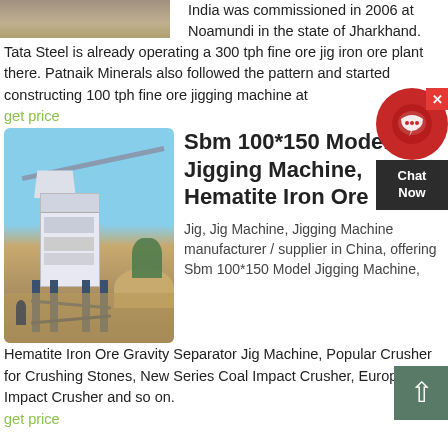[Figure (photo): Partial view of an ore beneficiation plant — brown/tan colored industrial site]
India was commissioned in 2006 at Noamundi in the state of Jharkhand. Tata Steel is already operating a 300 tph fine ore jig iron ore plant there. Patnaik Minerals also followed the pattern and started constructing 100 tph fine ore jigging machine at
get price
[Figure (photo): Sbm 100*150 Model Jigging Machine industrial plant photo — large blue/white machinery on a construction site with crane arm and hopper, blue sky background]
Sbm 100*150 Model Jigging Machine, Hematite Iron Ore
Jig, Jig Machine, Jigging Machine manufacturer / supplier in China, offering Sbm 100*150 Model Jigging Machine, Hematite Iron Ore Gravity Separator Jig Machine, Popular Crusher for Crushing Stones, New Series Coal Impact Crusher, European Impact Crusher and so on.
get price